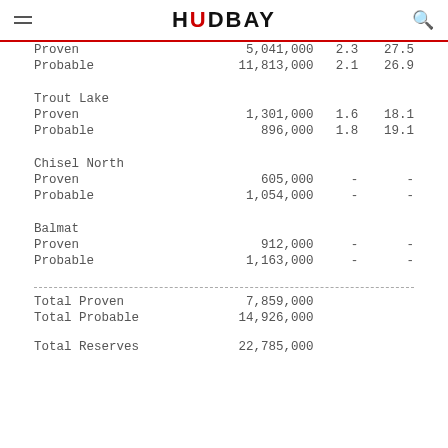HUDBAY
| Category | Tonnes | Col3 | Col4 |
| --- | --- | --- | --- |
| Proven | 5,041,000 | 2.3 | 27.5 |
| Probable | 11,813,000 | 2.1 | 26.9 |
| Trout Lake |  |  |  |
| Proven | 1,301,000 | 1.6 | 18.1 |
| Probable | 896,000 | 1.8 | 19.1 |
| Chisel North |  |  |  |
| Proven | 605,000 | - | - |
| Probable | 1,054,000 | - | - |
| Balmat |  |  |  |
| Proven | 912,000 | - | - |
| Probable | 1,163,000 | - | - |
| Total Proven | 7,859,000 |  |  |
| Total Probable | 14,926,000 |  |  |
| Total Reserves | 22,785,000 |  |  |